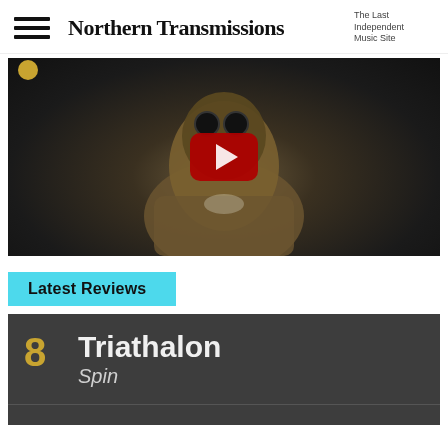Northern Transmissions — The Last Independent Music Site
[Figure (screenshot): YouTube video embed showing a person in a hoodie with goggles, dark moody background, red YouTube play button overlay]
Latest Reviews
8  Triathalon  Spin